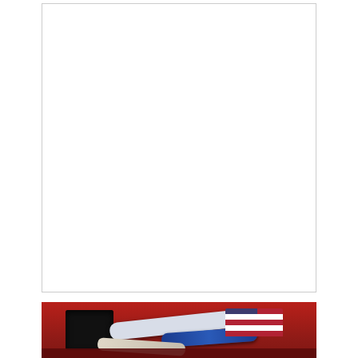[Figure (illustration): White rectangle placeholder box at top]
[Figure (photo): Car engine bay with red engine block, white and blue hoses, and American flag visible. Overlaid with dark red banner containing the text HOW TO PREPARE FOR ASE L1 EXAM? and subtitle CONQUER YOUR EXAM]
HOW TO PREPARE FOR ASE L1 EXAM?
CONQUER YOUR EXAM
[Figure (photo): Ulta Beauty advertisement banner showing beauty/makeup images: red lips with brush, makeup brush, eye with dark makeup, Ulta Beauty logo, eye with dramatic eyeliner, and SHOP NOW text on black background]